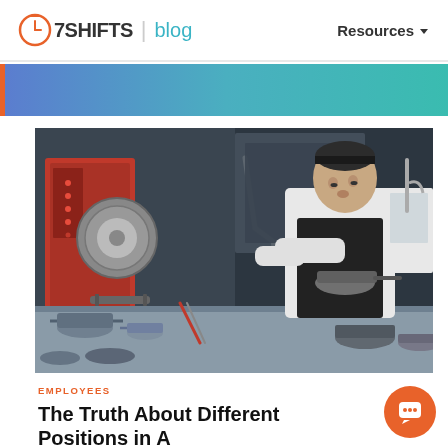7SHIFTS | blog    Resources
[Figure (photo): A female chef in white chef coat and black apron working at a busy restaurant kitchen station with pots, pans, and commercial cooking equipment]
EMPLOYEES
The Truth About Different Positions in A Restaurant